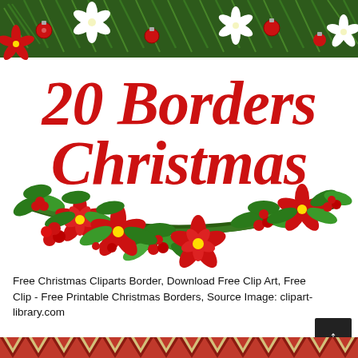[Figure (illustration): Christmas clipart border illustration showing a decorative top border of pine branches, red ornaments, poinsettias and white flowers, with large red cursive text '20 Borders Christmas' in the center, and a bottom garland of holly leaves, red berries and poinsettia flowers arranged in a U-shape swag on a white background.]
Free Christmas Cliparts Border, Download Free Clip Art, Free Clip - Free Printable Christmas Borders, Source Image: clipart-library.com
[Figure (illustration): A partial bottom banner showing a repeating red, dark red and gold/white chevron/zigzag Christmas pattern border strip.]